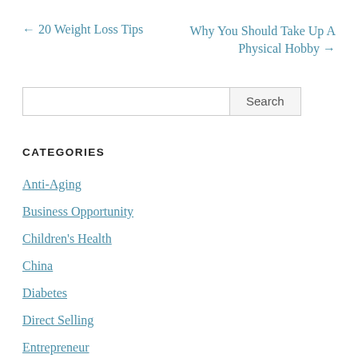← 20 Weight Loss Tips
Why You Should Take Up A Physical Hobby →
Search
CATEGORIES
Anti-Aging
Business Opportunity
Children's Health
China
Diabetes
Direct Selling
Entrepreneur
Facebook Live Videos